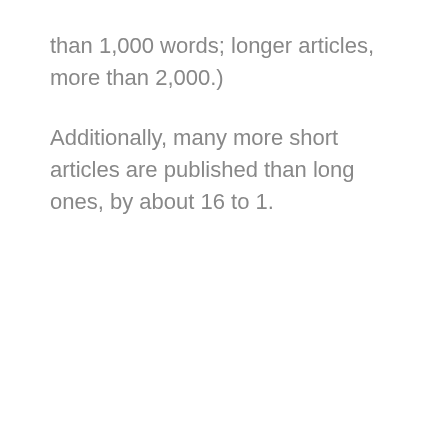than 1,000 words; longer articles, more than 2,000.)
Additionally, many more short articles are published than long ones, by about 16 to 1.